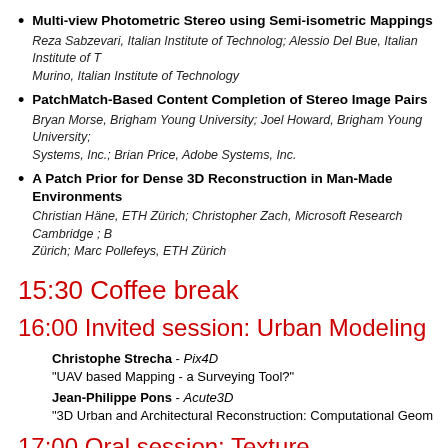Multi-view Photometric Stereo using Semi-isometric Mappings
Reza Sabzevari, Italian Institute of Technolog; Alessio Del Bue, Italian Institute of T
Murino, Italian Institute of Technology
PatchMatch-Based Content Completion of Stereo Image Pairs
Bryan Morse, Brigham Young University; Joel Howard, Brigham Young University;
Systems, Inc.; Brian Price, Adobe Systems, Inc.
A Patch Prior for Dense 3D Reconstruction in Man-Made Environments
Christian Häne, ETH Zürich; Christopher Zach, Microsoft Research Cambridge ; B
Zürich; Marc Pollefeys, ETH Zürich
15:30 Coffee break
16:00 Invited session: Urban Modeling
Christophe Strecha - Pix4D
"UAV based Mapping - a Surveying Tool?"
Jean-Philippe Pons - Acute3D
"3D Urban and Architectural Reconstruction: Computational Geom
17:00 Oral session: Texture, Reflectance